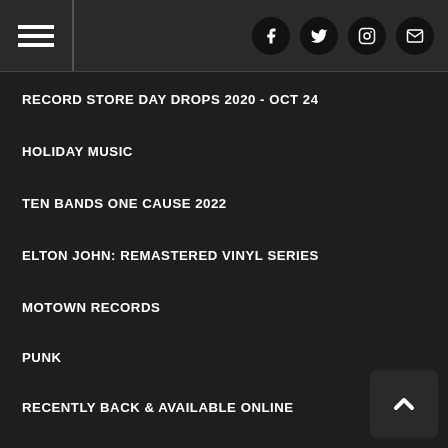Navigation header with hamburger menu and social icons (Facebook, Twitter, Instagram, Email)
RECORD STORE DAY DROPS 2020 - OCT 24
HOLIDAY MUSIC
TEN BANDS ONE CAUSE 2022
ELTON JOHN: REMASTERED VINYL SERIES
MOTOWN RECORDS
PUNK
RECENTLY BACK & AVAILABLE ONLINE
RECORD STORE DAY 2022
RECORD STORE DAY DROPS 2021 - JULY
RECORD STORE DAY DROPS 2021 - JUNE